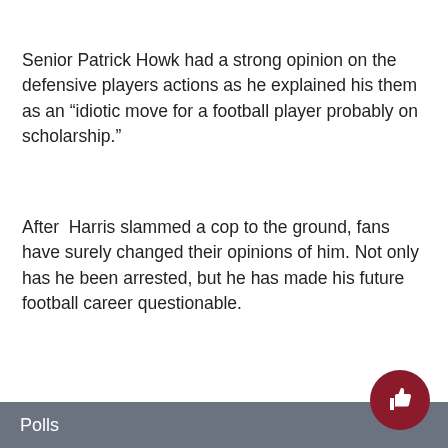Senior Patrick Howk had a strong opinion on the defensive players actions as he explained his them as an “idiotic move for a football player probably on scholarship.”
After  Harris slammed a cop to the ground, fans have surely changed their opinions of him. Not only has he been arrested, but he has made his future football career questionable.
#MichaelHarris #CopToTheGround #EKU
Polls